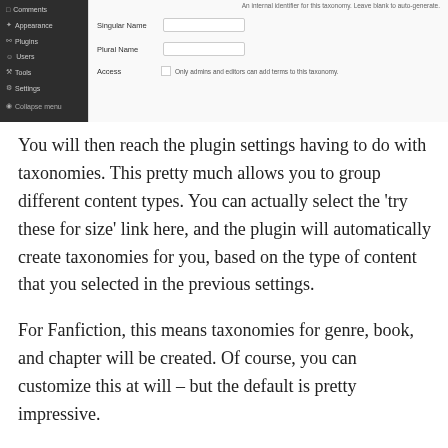[Figure (screenshot): WordPress admin sidebar with menu items (Comments, Appearance, Plugins, Users, Tools, Settings, Collapse menu) alongside a plugin settings form showing fields for Singular Name, Plural Name, and Access with a checkbox.]
You will then reach the plugin settings having to do with taxonomies. This pretty much allows you to group different content types. You can actually select the 'try these for size' link here, and the plugin will automatically create taxonomies for you, based on the type of content that you selected in the previous settings.
For Fanfiction, this means taxonomies for genre, book, and chapter will be created. Of course, you can customize this at will – but the default is pretty impressive.